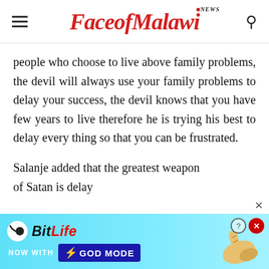FaceofMalawi NEWS
people who choose to live above family problems, the devil will always use your family problems to delay your success, the devil knows that you have few years to live therefore he is trying his best to delay every thing so that you can be frustrated.
Salanje added that the greatest weapon of Satan is delay
[Figure (screenshot): BitLife advertisement banner — 'NOW WITH GOD MODE' with lightning bolt, sperm icon, hand pointing finger graphic, question mark and close button. Cyan/blue gradient background.]